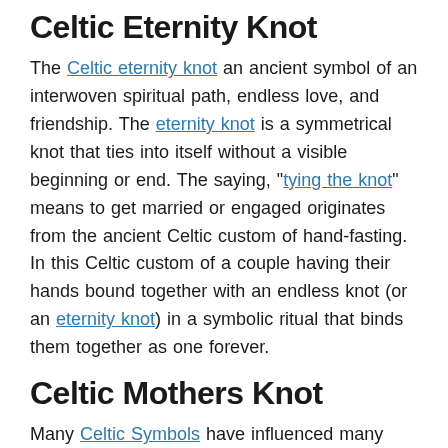Celtic Eternity Knot
The Celtic eternity knot an ancient symbol of an interwoven spiritual path, endless love, and friendship. The eternity knot is a symmetrical knot that ties into itself without a visible beginning or end. The saying, “tying the knot” means to get married or engaged originates from the ancient Celtic custom of hand-fasting. In this Celtic custom of a couple having their hands bound together with an endless knot (or an eternity knot) in a symbolic ritual that binds them together as one forever.
Celtic Mothers Knot
Many Celtic Symbols have influenced many aspects of daily life, especially motherhood. Celtic motherhood